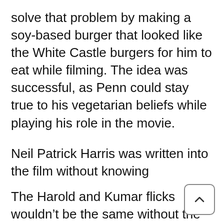solve that problem by making a soy-based burger that looked like the White Castle burgers for him to eat while filming. The idea was successful, as Penn could stay true to his vegetarian beliefs while playing his role in the movie.
Neil Patrick Harris was written into the film without knowing
The Harold and Kumar flicks wouldn't be the same without the appearance of the sex-crazed Neil Patrick Harris. However, Harris revealed he was totally unaware of the film until a friend said that he had a part in it.